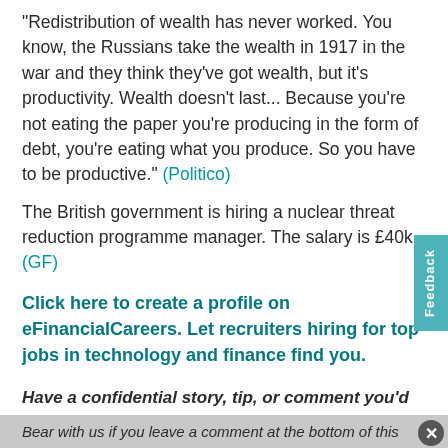"Redistribution of wealth has never worked. You know, the Russians take the wealth in 1917 in the war and they think they've got wealth, but it's productivity. Wealth doesn't last... Because you're not eating the paper you're producing in the form of debt, you're eating what you produce. So you have to be productive." (Politico)
The British government is hiring a nuclear threat reduction programme manager. The salary is £40k. (GF)
Click here to create a profile on eFinancialCareers. Let recruiters hiring for top jobs in technology and finance find you.
Have a confidential story, tip, or comment you'd like to share? Contact: sbutcher@efinancialcareers.com in the first instance. Whatsapp/Signal/Telegram also available (Telegram: @SarahButcher)
Bear with us if you leave a comment at the bottom of this